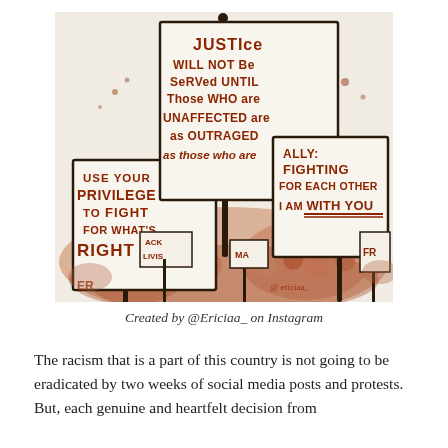[Figure (illustration): Watercolor illustration of a protest scene with signs reading: 'JUSTICE WILL NOT BE SERVED UNTIL THOSE WHO ARE UNAFFECTED ARE AS OUTRAGED as those who are', 'USE YOUR PRIVILEGE TO FIGHT FOR WHAT'S RIGHT', and 'ALLY: FIGHTING FOR EACH OTHER I AM WITH YOU'. A crowd of protesters with additional signs (BLACK LIVES, etc.) is visible in the background. Watermark: @ericiaa_]
Created by @Ericiaa_ on Instagram
The racism that is a part of this country is not going to be eradicated by two weeks of social media posts and protests. But, each genuine and heartfelt decision from